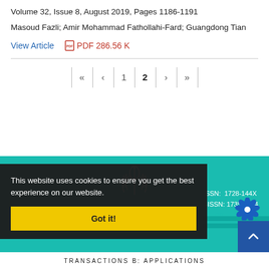Volume 32, Issue 8, August 2019, Pages 1186-1191
Masoud Fazli; Amir Mohammad Fathollahi-Fard; Guangdong Tian
View Article   PDF 286.56 K
« < 1 2 > »
[Figure (other): Teal footer banner with Iranian emblem, ISSN numbers, MERC logo, and TRANSACTIONS B: APPLICATIONS text]
This website uses cookies to ensure you get the best experience on our website. Got it!